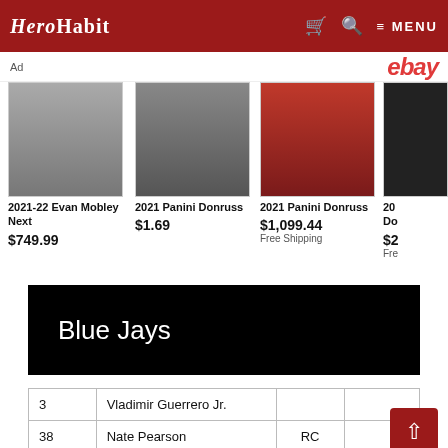HeroHabit — MENU
Ad  ebay
[Figure (photo): 2021-22 Evan Mobley Next trading card in case on dark background]
2021-22 Evan Mobley Next
$749.99
[Figure (photo): 2021 Panini Donruss football card on field background]
2021 Panini Donruss
$1.69
[Figure (photo): 2021 Panini Donruss card with hobby shop items on red background]
2021 Panini Donruss
$1,099.44
Free Shipping
20 Do
$2
Fre
Blue Jays
| 3 | Vladimir Guerrero Jr. |  |  |
| 38 | Nate Pearson | RC |  |